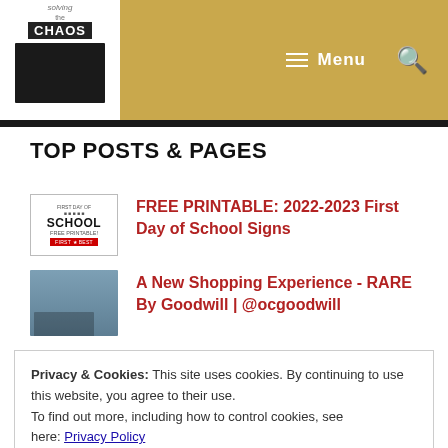[Figure (logo): Solving the Chaos blog logo with woman photo on white background, gold navigation bar with Menu icon and search icon]
TOP POSTS & PAGES
[Figure (photo): First Day of School Free Printable thumbnail image]
FREE PRINTABLE: 2022-2023 First Day of School Signs
[Figure (photo): RARE By Goodwill store exterior thumbnail]
A New Shopping Experience - RARE By Goodwill | @ocgoodwill
Privacy & Cookies: This site uses cookies. By continuing to use this website, you agree to their use.
To find out more, including how to control cookies, see here: Privacy Policy